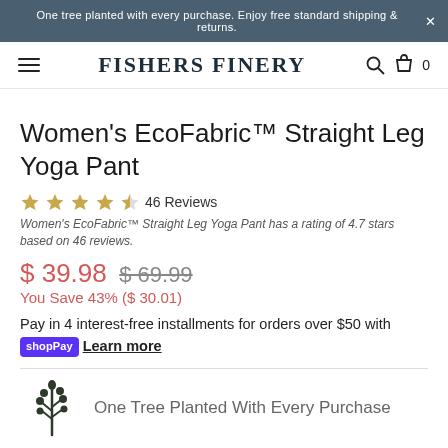One tree planted with every purchase. Enjoy free standard shipping & returns.
FISHERS FINERY
Women's EcoFabric™ Straight Leg Yoga Pant
46 Reviews
Women's EcoFabric™ Straight Leg Yoga Pant has a rating of 4.7 stars based on 46 reviews.
$ 39.98  $ 69.99
You Save 43% ($ 30.01)
Pay in 4 interest-free installments for orders over $50 with shopPay Learn more
One Tree Planted With Every Purchase